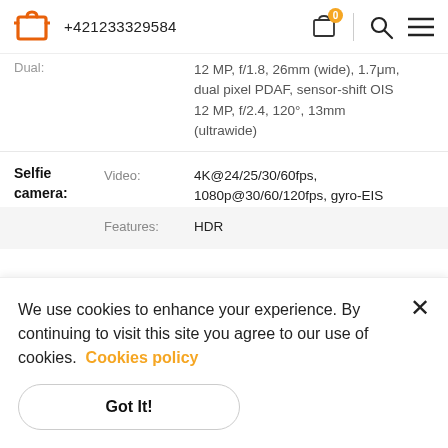+421233329584
| Category | Sub-label | Value |
| --- | --- | --- |
| Dual: |  | 12 MP, f/1.8, 26mm (wide), 1.7μm, dual pixel PDAF, sensor-shift OIS 12 MP, f/2.4, 120°, 13mm (ultrawide) |
| Selfie camera: | Video: | 4K@24/25/30/60fps, 1080p@30/60/120fps, gyro-EIS |
|  | Features: | HDR |
We use cookies to enhance your experience. By continuing to visit this site you agree to our use of cookies.  Cookies policy
Got It!